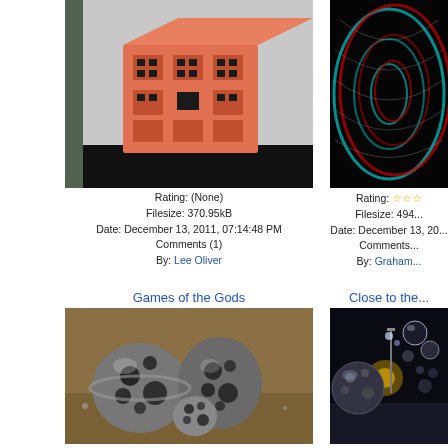[Figure (photo): 3D printed orange/salmon colored Menger sponge fractal cube on a dark surface with glass panels in background]
Rating: (None)
Filesize: 370.95kB
Date: December 13, 2011, 07:14:48 PM
Comments (1)
By: Lee Oliver
[Figure (photo): 3D anaglyph red-cyan stereoscopic image of a fractal tunnel/vortex with metallic swirling patterns]
Rating: ☆☆☆
Filesize: 494...
Date: December 13, 20...
Comments...
By: Graham...
Games of the Gods
[Figure (photo): Metallic Menger sponge-like spheres and objects with holes on a sandy surface with water droplets]
Rating: ★★★★★
Filesize: 498.87kB
Close to the...
[Figure (photo): Dark fractal scene with metallic spheres and reflective bubbles with a lamp post structure]
Rating: ★★★
Filesize: 487...